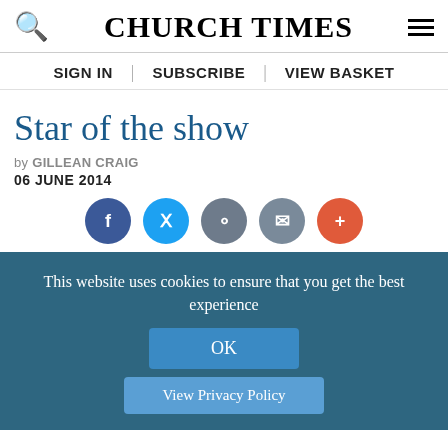CHURCH TIMES
SIGN IN | SUBSCRIBE | VIEW BASKET
Star of the show
by GILLEAN CRAIG
06 JUNE 2014
[Figure (infographic): Social sharing buttons: Facebook (dark blue), Twitter (light blue), Reddit (grey), Email (grey), More/Plus (orange-red)]
[Figure (photo): Article image showing a warm orange/amber background with what appears to be a screen or monitor and books in the background]
This website uses cookies to ensure that you get the best experience
OK
View Privacy Policy